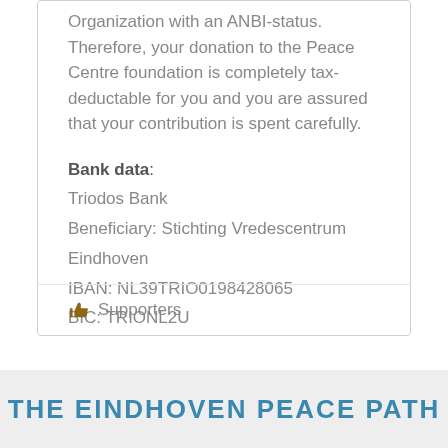Organization with an ANBI-status. Therefore, your donation to the Peace Centre foundation is completely tax-deductable for you and you are assured that your contribution is spent carefully.
Bank data: Triodos Bank Beneficiary: Stichting Vredescentrum Eindhoven IBAN: NL39TRIO0198428065 BIC: TRIONL2U
Supporters
THE EINDHOVEN PEACE PATH